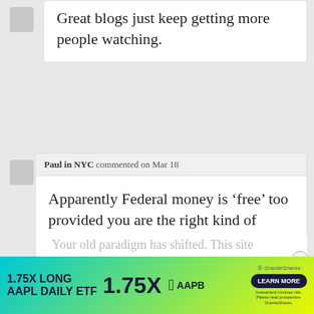Great blogs just keep getting more people watching.
Paul in NYC commented on Mar 18
Apparently Federal money is ‘free’ too provided you are the right kind of people.
edhopper commented on Mar 18
Your old paradigm has shifted. This site
[Figure (screenshot): Advertisement banner: 1.75X LONG AAPL DAILY ETF with 1.75X AAPB branding and LEARN MORE button from GraniteShares]